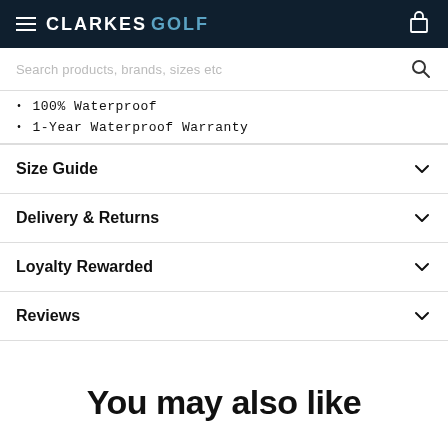CLARKES GOLF
Search products, brands, sizes etc
100% Waterproof
1-Year Waterproof Warranty
Size Guide
Delivery & Returns
Loyalty Rewarded
Reviews
You may also like